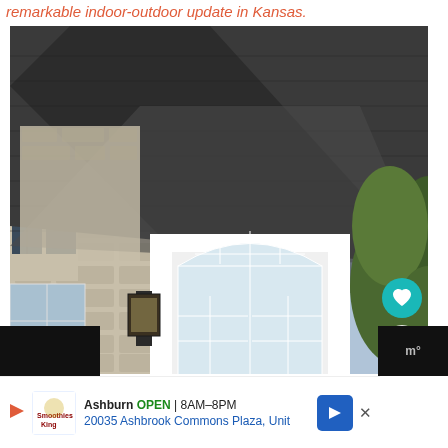remarkable indoor-outdoor update in Kansas.
[Figure (photo): Exterior photo of a stone house with dark shingle roof, white French doors with arched transom window, black lantern light, and green foliage on the right side. Overlaid buttons: heart/favorite (teal circle), 365 count (light circle), share button (light circle with share icon).]
[Figure (screenshot): Advertisement banner for Smoothie King in Ashburn showing OPEN 8AM-8PM, address 20035 Ashbrook Commons Plaza, Unit, with navigation arrow button and close X.]